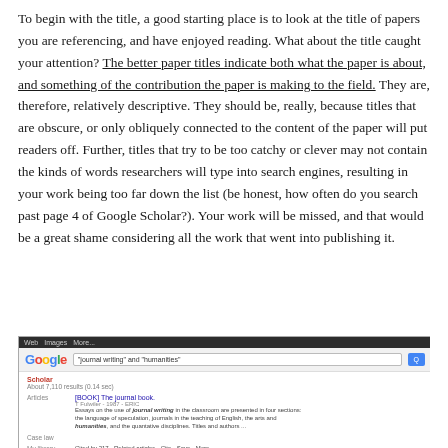To begin with the title, a good starting place is to look at the title of papers you are referencing, and have enjoyed reading. What about the title caught your attention? The better paper titles indicate both what the paper is about, and something of the contribution the paper is making to the field. They are, therefore, relatively descriptive. They should be, really, because titles that are obscure, or only obliquely connected to the content of the paper will put readers off. Further, titles that try to be too catchy or clever may not contain the kinds of words researchers will type into search engines, resulting in your work being too far down the list (be honest, how often do you search past page 4 of Google Scholar?). Your work will be missed, and that would be a great shame considering all the work that went into publishing it.
[Figure (screenshot): Screenshot of a Google Scholar search results page showing a search for 'journal writing' and 'humanities', with results including 'The journal book' by T Fulwiler.]